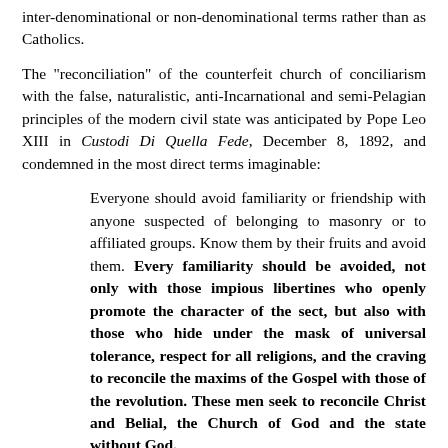inter-denominational or non-denominational terms rather than as Catholics.
The "reconciliation" of the counterfeit church of conciliarism with the false, naturalistic, anti-Incarnational and semi-Pelagian principles of the modern civil state was anticipated by Pope Leo XIII in Custodi Di Quella Fede, December 8, 1892, and condemned in the most direct terms imaginable:
Everyone should avoid familiarity or friendship with anyone suspected of belonging to masonry or to affiliated groups. Know them by their fruits and avoid them. Every familiarity should be avoided, not only with those impious libertines who openly promote the character of the sect, but also with those who hide under the mask of universal tolerance, respect for all religions, and the craving to reconcile the maxims of the Gospel with those of the revolution. These men seek to reconcile Christ and Belial, the Church of God and the state without God.